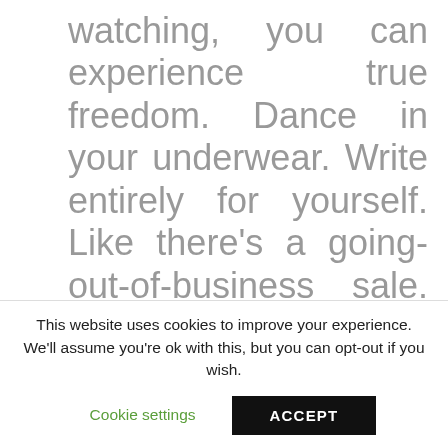watching, you can experience true freedom. Dance in your underwear. Write entirely for yourself. Like there's a going-out-of-business sale. Find yourself—not in some coming-of-age hippie way involving pasta and ashrams— but in a way that helps you draw your own line in the sand for what
This website uses cookies to improve your experience. We'll assume you're ok with this, but you can opt-out if you wish.
Cookie settings    ACCEPT